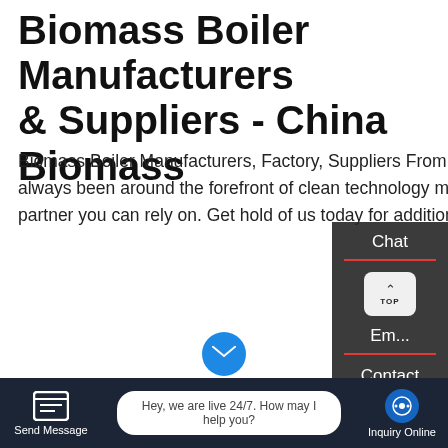Biomass Boiler Manufacturers & Suppliers - China Biomass
Biomass Boiler Manufacturers, Factory, Suppliers From China, As a result of our hard perform, we have always been around the forefront of clean technology merchandise innovation. We've been a eco-friendly partner you can rely on. Get hold of us today for additional data!
[Figure (screenshot): A 'Learn More' button in teal/cyan color]
[Figure (photo): Industrial biomass boiler equipment photo with pipes and machinery, overlaid with WhatsApp icon and 'Contact us now!' green button, sidebar panel with Chat/Email/Contact labels and TOP button, bottom bar with Send Message, live chat bubble 'Hey, we are live 24/7. How may I help you?', and Inquiry Online button]